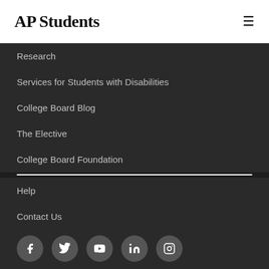AP Students
Research
Services for Students with Disabilities
College Board Blog
The Elective
College Board Foundation
Help
Contact Us
[Figure (infographic): Social media icons row: Facebook, Twitter, YouTube, LinkedIn, Instagram]
Doing Business
Compliance
Legal Terms for Students